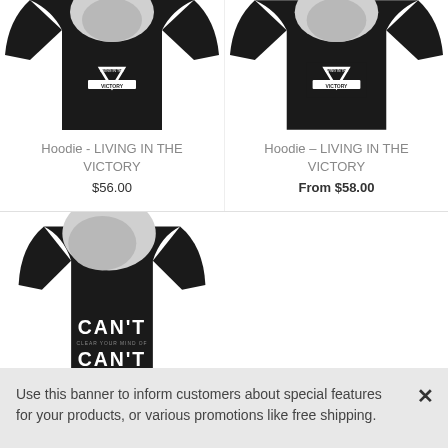[Figure (photo): Black hoodie with LIVING IN THE VICTORY logo, left product]
Hoodie - LIVING IN THE VICTORY
$56.00
[Figure (photo): Black hoodie with LIVING IN THE VICTORY logo, right product]
Hoodie – LIVING IN THE VICTORY
From $58.00
[Figure (photo): Black hoodie with CAN'T logo on front]
Use this banner to inform customers about special features for your products, or various promotions like free shipping.